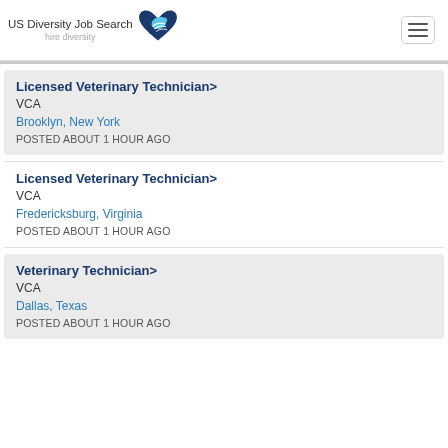US Diversity Job Search hire diversity
Licensed Veterinary Technician>
VCA
Brooklyn, New York
POSTED ABOUT 1 HOUR AGO
Licensed Veterinary Technician>
VCA
Fredericksburg, Virginia
POSTED ABOUT 1 HOUR AGO
Veterinary Technician>
VCA
Dallas, Texas
POSTED ABOUT 1 HOUR AGO